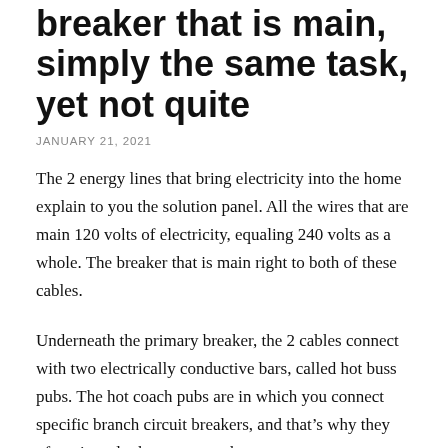breaker that is main, simply the same task, yet not quite
JANUARY 21, 2021
The 2 energy lines that bring electricity into the home explain to you the solution panel. All the wires that are main 120 volts of electricity, equaling 240 volts as a whole. The breaker that is main right to both of these cables.
Underneath the primary breaker, the 2 cables connect with two electrically conductive bars, called hot buss pubs. The hot coach pubs are in which you connect specific branch circuit breakers, and that's why they often times look as two synchronous rows.
The primary circuit breaker controls the electricity movement from your own two primary cables to your hot buss bars. Tripping the primary circuit breaker